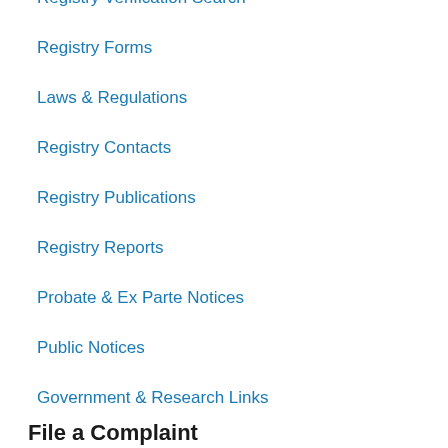Registry Verification Search
Registry Forms
Laws & Regulations
Registry Contacts
Registry Publications
Registry Reports
Probate & Ex Parte Notices
Public Notices
Government & Research Links
File a Complaint